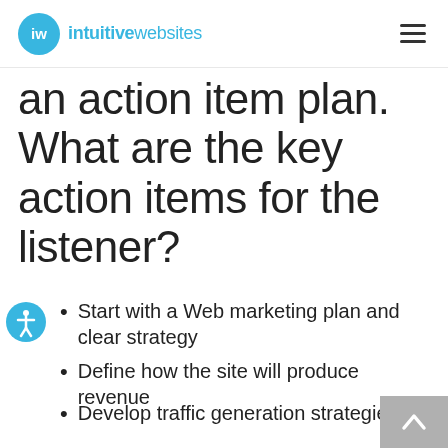iw intuitivewebsites
an action item plan. What are the key action items for the listener?
Start with a Web marketing plan and clear strategy
Define how the site will produce revenue
Develop traffic generation strategies
Drive traffic to schools from the site
Use intuitive search functions based on Web stats